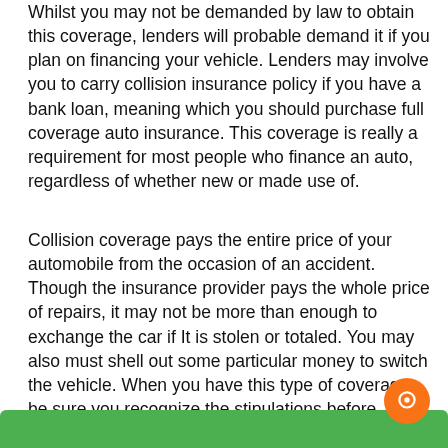Whilst you may not be demanded by law to obtain this coverage, lenders will probable demand it if you plan on financing your vehicle. Lenders may involve you to carry collision insurance policy if you have a bank loan, meaning which you should purchase full coverage auto insurance. This coverage is really a requirement for most people who finance an auto, regardless of whether new or made use of.
Collision coverage pays the entire price of your automobile from the occasion of an accident. Though the insurance provider pays the whole price of repairs, it may not be more than enough to exchange the car if It is stolen or totaled. You may also must shell out some particular money to switch the vehicle. When you have this type of coverage, be sure you recognize the stipulations before buying car coverage. You should also realize the deductible, which can be individual from the collision deductible.